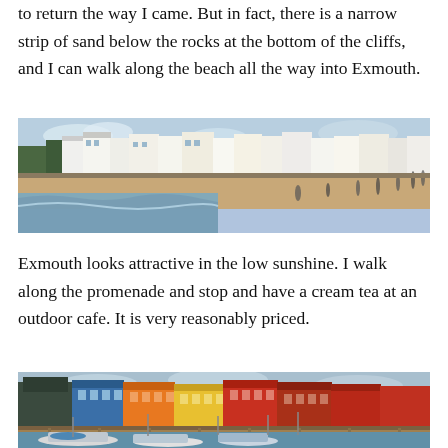to return the way I came. But in fact, there is a narrow strip of sand below the rocks at the bottom of the cliffs, and I can walk along the beach all the way into Exmouth.
[Figure (photo): A view of Exmouth beachfront with a row of white and cream Georgian-style buildings along the seafront, sandy beach in the foreground with people walking, calm sea water on the left.]
Exmouth looks attractive in the low sunshine. I walk along the promenade and stop and have a cream tea at an outdoor cafe. It is very reasonably priced.
[Figure (photo): A marina or harbour scene with colourful buildings (blue, orange, red) in the background, boats moored in the foreground, and a wooden pier/walkway.]